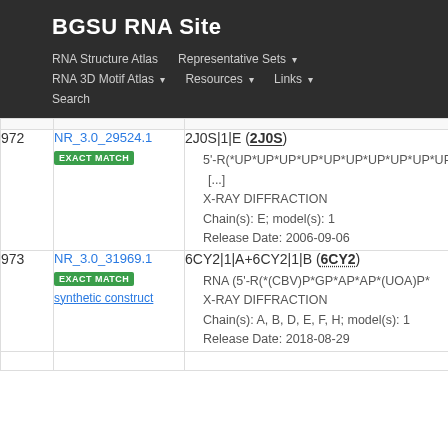BGSU RNA Site
RNA Structure Atlas | Representative Sets | RNA 3D Motif Atlas | Resources | Links | Search
| # | ID | Details |
| --- | --- | --- |
| 972 | NR_3.0_29524.1 EXACT MATCH | 2J0S|1|E (2J0S)
5'-R(*UP*UP*UP*UP*UP*UP*UP*UP*UP*UP [...]
X-RAY DIFFRACTION
Chain(s): E; model(s): 1
Release Date: 2006-09-06 |
| 973 | NR_3.0_31969.1 EXACT MATCH synthetic construct | 6CY2|1|A+6CY2|1|B (6CY2)
RNA (5'-R(*(CBV)P*GP*AP*AP*(UOA)P*
X-RAY DIFFRACTION
Chain(s): A, B, D, E, F, H; model(s): 1
Release Date: 2018-08-29 |